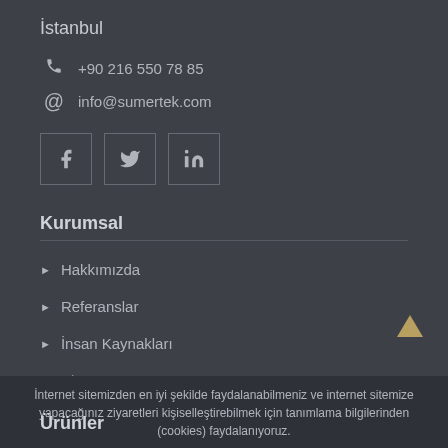İstanbul
📞 +90 216 550 78 85
@ info@sumertek.com
[Figure (other): Social media icons: Facebook, Twitter, LinkedIn in bordered square boxes]
Kurumsal
▶ Hakkımızda
▶ Referanslar
▶ İnsan Kaynakları
▶ Bize Yazın
İnternet sitemizden en iyi şekilde faydalanabilmeniz ve internet sitemize yapacağınız ziyaretleri kişiselleştirebilmek için tanımlama bilgilerinden (cookies) faydalanıyoruz.
Ürünler